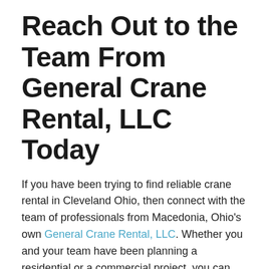Reach Out to the Team From General Crane Rental, LLC Today
If you have been trying to find reliable crane rental in Cleveland Ohio, then connect with the team of professionals from Macedonia, Ohio's own General Crane Rental, LLC. Whether you and your team have been planning a residential or a commercial project, you can feel confident in counting on General Crane Rental, LLC to help you ensure an efficient job site.
You and your team can count on the experts from General Crane Rental, LLC for a complete selection of boom trucks, all-terrain cranes, carry deck cranes, rough terrain cranes,